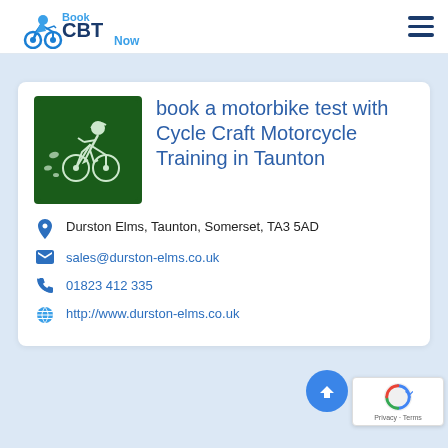Book CBT Now
book a motorbike test with Cycle Craft Motorcycle Training in Taunton
Durston Elms, Taunton, Somerset, TA3 5AD
sales@durston-elms.co.uk
01823 412 335
http://www.durston-elms.co.uk